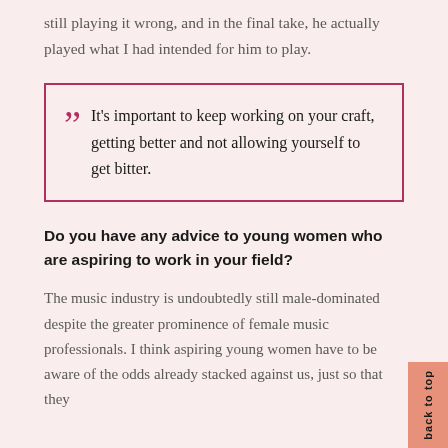still playing it wrong, and in the final take, he actually played what I had intended for him to play.
It's important to keep working on your craft, getting better and not allowing yourself to get bitter.
Do you have any advice to young women who are aspiring to work in your field?
The music industry is undoubtedly still male-dominated despite the greater prominence of female music professionals. I think aspiring young women have to be aware of the odds already stacked against us, just so that they